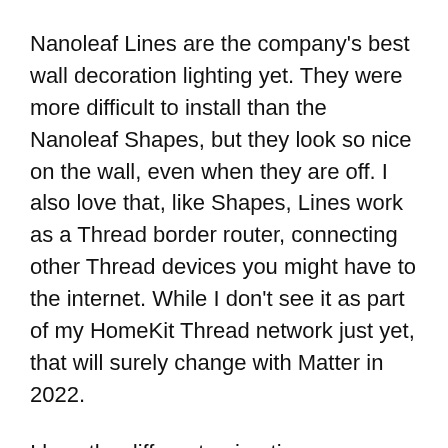Nanoleaf Lines are the company's best wall decoration lighting yet. They were more difficult to install than the Nanoleaf Shapes, but they look so nice on the wall, even when they are off. I also love that, like Shapes, Lines work as a Thread border router, connecting other Thread devices you might have to the internet. While I don't see it as part of my HomeKit Thread network just yet, that will surely change with Matter in 2022.
I love the different animations you can create with Lines, although I often just set them as a solid color from inside the Apple Home app. Nanoleaf Lines are not cheap, but they make a great addition to any room in your home. I think this could work particularly well where you have dim lighting scenes like a living room, bedroom, or den. I use them as a backdrop for my YouTube videos and wall decorations in my office. Th